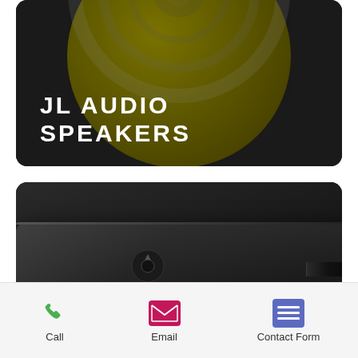[Figure (photo): JL Audio Speakers product card with dark olive/gold circular background and speaker, white bold text 'JL AUDIO SPEAKERS' partially visible at top]
[Figure (photo): JL Audio Amplifiers product card with dark black background showing a sleek black amplifier device, white bold text 'JL AUDIO AMPLIFIERS' at bottom]
[Figure (photo): Third product card partially visible at bottom of page]
Call
Email
Contact Form